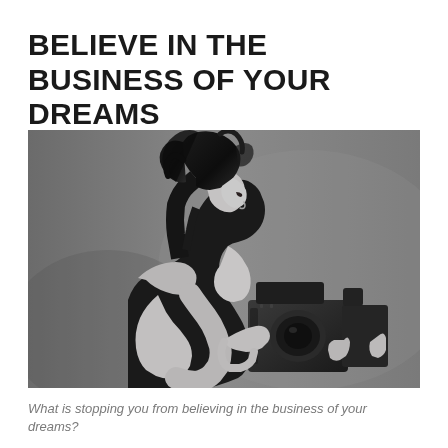BELIEVE IN THE BUSINESS OF YOUR DREAMS
[Figure (photo): Black and white photograph of a young woman with windswept dark hair, wearing a black dress, looking down at a large medium format camera she is holding in her hands. Studio portrait on grey background.]
What is stopping you from believing in the business of your dreams?